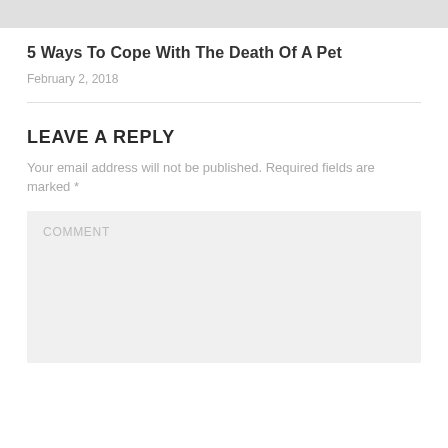[Figure (photo): Gray image placeholder bar at the top of the page]
5 Ways To Cope With The Death Of A Pet
February 2, 2018
LEAVE A REPLY
Your email address will not be published. Required fields are marked *
COMMENT